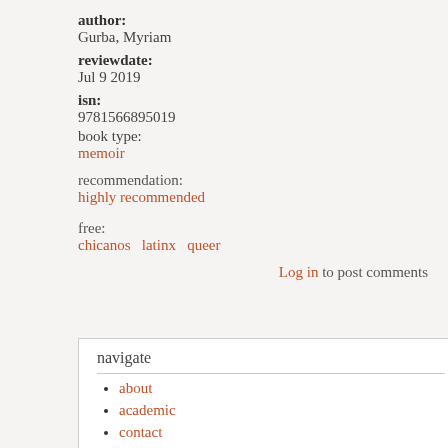author:
Gurba, Myriam
reviewdate:
Jul 9 2019
isn:
9781566895019
book type:
memoir
recommendation:
highly recommended
free:
chicanos   latinx   queer
Log in to post comments
navigate
about
academic
contact
policies